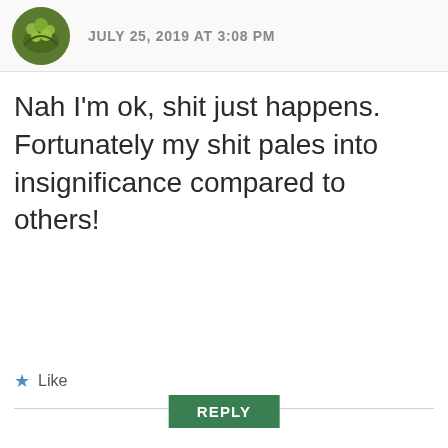[Figure (photo): Circular avatar photo of green berries on a tree branch]
JULY 25, 2019 AT 3:08 PM
Nah I'm ok, shit just happens. Fortunately my shit pales into insignificance compared to others!
★ Like
REPLY